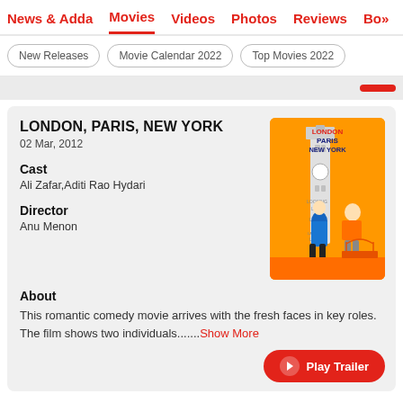News & Adda  Movies  Videos  Photos  Reviews  Box
New Releases   Movie Calendar 2022   Top Movies 2022
LONDON, PARIS, NEW YORK
02 Mar, 2012
Cast
Ali Zafar,Aditi Rao Hydari
Director
Anu Menon
[Figure (photo): Movie poster for London, Paris, New York showing two characters in front of landmarks with orange background]
About
This romantic comedy movie arrives with the fresh faces in key roles. The film shows two individuals.......Show More